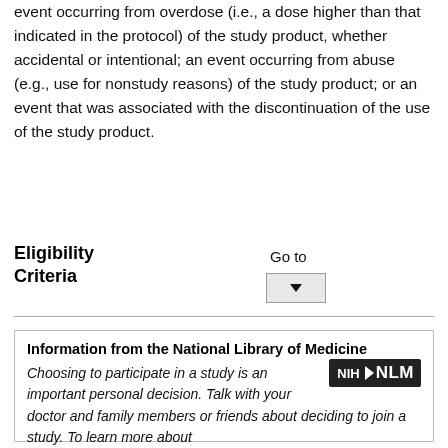event occurring from overdose (i.e., a dose higher than that indicated in the protocol) of the study product, whether accidental or intentional; an event occurring from abuse (e.g., use for nonstudy reasons) of the study product; or an event that was associated with the discontinuation of the use of the study product.
Eligibility
Criteria
Go to
Information from the National Library of Medicine
Choosing to participate in a study is an important personal decision. Talk with your doctor and family members or friends about deciding to join a study. To learn more about